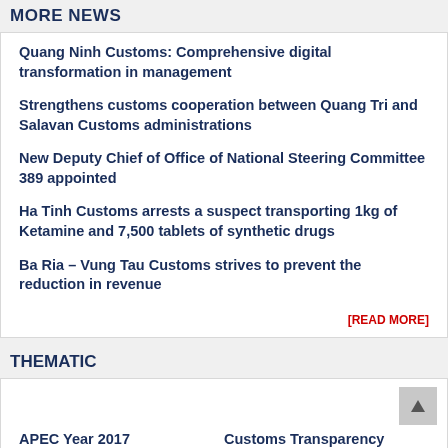MORE NEWS
Quang Ninh Customs: Comprehensive digital transformation in management
Strengthens customs cooperation between Quang Tri and Salavan Customs administrations
New Deputy Chief of Office of National Steering Committee 389 appointed
Ha Tinh Customs arrests a suspect transporting 1kg of Ketamine and 7,500 tablets of synthetic drugs
Ba Ria – Vung Tau Customs strives to prevent the reduction in revenue
[READ MORE]
THEMATIC
APEC Year 2017
Customs Transparency